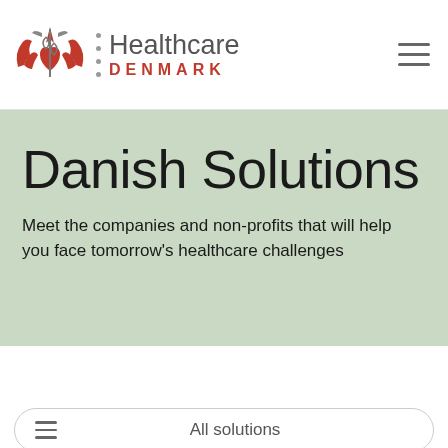Healthcare Denmark
Danish Solutions
Meet the companies and non-profits that will help you face tomorrow's healthcare challenges
All solutions